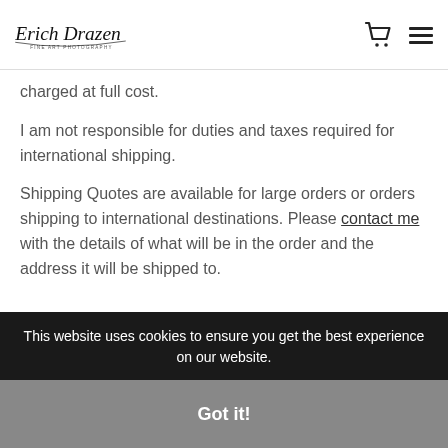Erich Drazen Fine Art Photography
charged at full cost.
I am not responsible for duties and taxes required for international shipping.
Shipping Quotes are available for large orders or orders shipping to international destinations. Please contact me with the details of what will be in the order and the address it will be shipped to.
This website uses cookies to ensure you get the best experience on our website.
Got it!